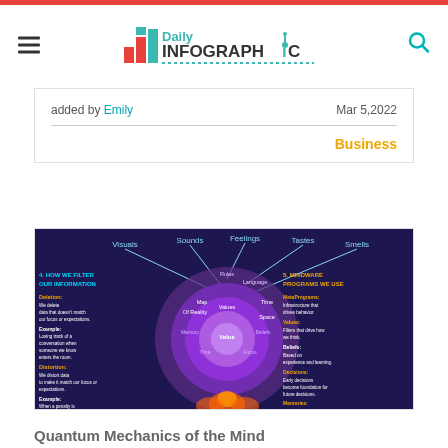Daily Infographic
added by Emily  Mar 5, 2022
Business
[Figure (infographic): Infographic titled 'Quantum Mechanics of the Mind' showing a circular diagram with concentric rings labeled with concepts: Values, Beliefs, Memories, Language, Attitudes, Decisions, MetaPrograms. Top labels: Visuals, Sounds, Feelings, Tastes, Smells. Left panel: '4. HOW WE FILTER OUR INFORMATION' with Deletion, Distortion, Generalization. Right panel: '5. MINDWARE PROGRAMS WE USE' with MetaPrograms, Values, Beliefs, Decisions, Memories, Language, Attitudes.]
Quantum Mechanics of the Mind